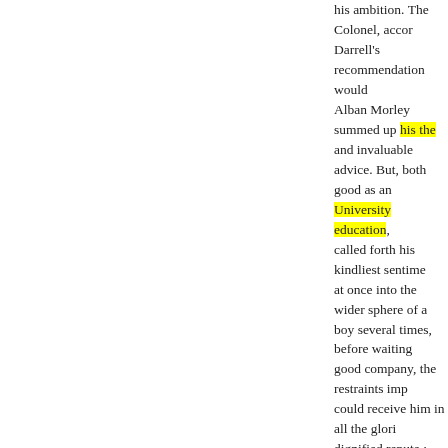his ambition. The Colonel, accor Darrell's recommendation would Alban Morley summed up his the and invaluable advice. But, both good as an University education, called forth his kindliest sentime at once into the wider sphere of a boy several times, before waiting good company, the restraints imp could receive him in all the glori dignified repute ; ---than confine his deemed him worthy of a cons Darrell unreflecting imitation - u found emphatically distinguished kinsman, knowledge it bestows, mind which a probable heir, yet t him to tions." Bat Lionel, younger in character him to obtain Mrs Haughton's ac tact and temper which await the had been invested by Mr Darrell. was too morbid, too much on me